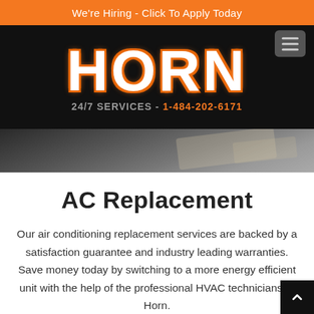We're Hiring - Click To Apply Today
HORN
24/7 SERVICES - 1-484-202-6171
[Figure (photo): Photograph of ductwork/HVAC installation area, dark interior with pipes visible on right side]
AC Replacement
Our air conditioning replacement services are backed by a satisfaction guarantee and industry leading warranties. Save money today by switching to a more energy efficient unit with the help of the professional HVAC technicians at Horn.